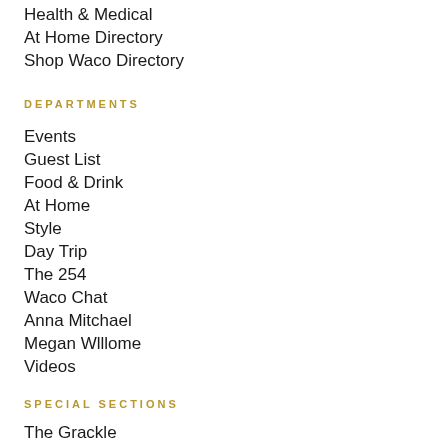Health & Medical
At Home Directory
Shop Waco Directory
DEPARTMENTS
Events
Guest List
Food & Drink
At Home
Style
Day Trip
The 254
Waco Chat
Anna Mitchael
Megan Willome
Videos
SPECIAL SECTIONS
The Grackle
Best of Waco